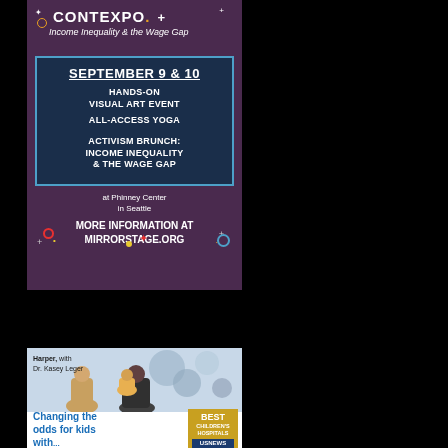[Figure (illustration): CONTEXPO advertisement on purple background. Shows event name 'CONTEXPO - Income Inequality & the Wage Gap', dates September 9 & 10, events including Hands-On Visual Art Event, All-Access Yoga, Activism Brunch: Income Inequality & the Wage Gap, at Phinney Center in Seattle. More information at mirrorstage.org]
[Figure (photo): Children's hospital advertisement showing a doctor with a child and parent. Text reads 'Harper, with Dr. Kasey Leger'. Bottom shows 'Changing the odds for kids with...' and a Best Children's Hospitals badge from US News.]